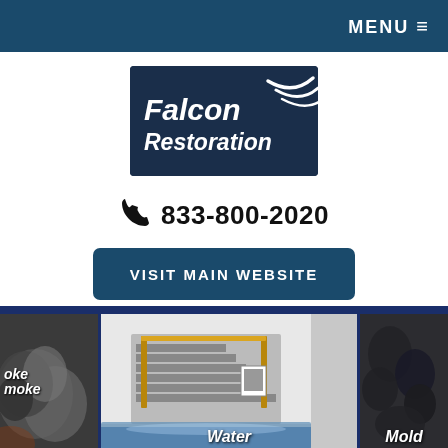MENU ☰
[Figure (logo): Falcon Restoration logo: dark navy background with white italic bold text 'Falcon Restoration' and swoosh/wing graphic in upper right]
📞 833-800-2020
VISIT MAIN WEBSITE
[Figure (photo): Service category tiles at bottom: partially visible 'Smoke' tile on left showing smoke clouds, 'Water' tile in center showing flooded staircase, partially visible 'Mold' tile on right showing mold on wall]